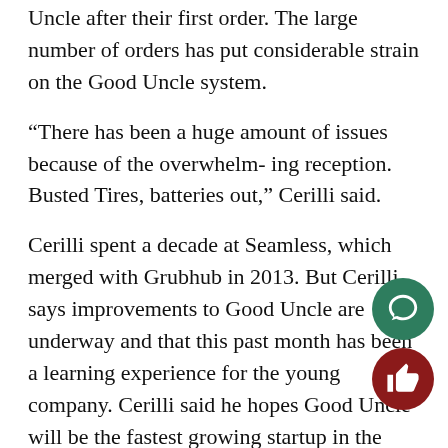Uncle after their first order. The large number of orders has put considerable strain on the Good Uncle system.
“There has been a huge amount of issues because of the overwhelm- ing reception. Busted Tires, batteries out,” Cerilli said.
Cerilli spent a decade at Seamless, which merged with Grubhub in 2013. But Cerilli says improvements to Good Uncle are underway and that this past month has been a learning experience for the young company. Cerilli said he hopes Good Uncle will be the fastest growing startup in the food industry in 2019.
Cerilli came up with the idea for Good Uncle as he saw the world of online interactions changing around him.
“I’ve seen a ton of innovation since we started Seamless, in creating marketplaces. [When] buying airplane tickets, used to call the airline up [and] each airline had their own